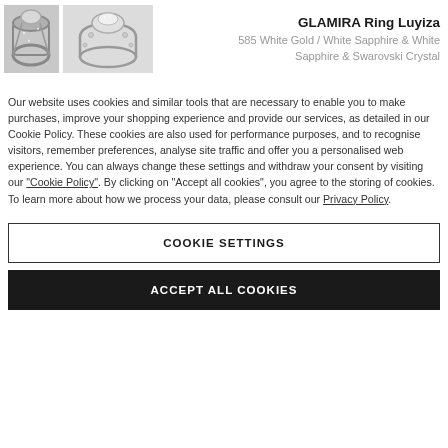[Figure (photo): Two product photos of GLAMIRA Ring Luyiza — a close-up of the ring side view and a front/angled view of the ring on white background]
GLAMIRA Ring Luyiza
585 White Gold / White Sapphire & White Sapphire & Swarovski Crystal
Our website uses cookies and similar tools that are necessary to enable you to make purchases, improve your shopping experience and provide our services, as detailed in our Cookie Policy. These cookies are also used for performance purposes, and to recognise visitors, remember preferences, analyse site traffic and offer you a personalised web experience. You can always change these settings and withdraw your consent by visiting our “Cookie Policy”. By clicking on “Accept all cookies”, you agree to the storing of cookies. To learn more about how we process your data, please consult our Privacy Policy.
COOKIE SETTINGS
ACCEPT ALL COOKIES